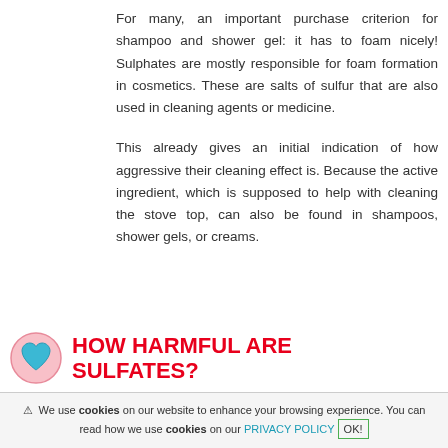For many, an important purchase criterion for shampoo and shower gel: it has to foam nicely! Sulphates are mostly responsible for foam formation in cosmetics. These are salts of sulfur that are also used in cleaning agents or medicine.
This already gives an initial indication of how aggressive their cleaning effect is. Because the active ingredient, which is supposed to help with cleaning the stove top, can also be found in shampoos, shower gels, or creams.
HOW HARMFUL ARE SULFATES?
⚠ We use cookies on our website to enhance your browsing experience. You can read how we use cookies on our PRIVACY POLICY OK!